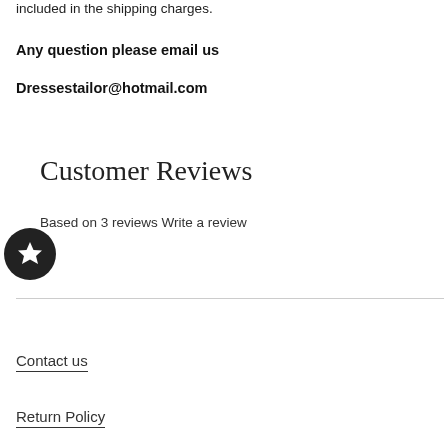included in the shipping charges.
Any question please email us
Dressestailor@hotmail.com
Customer Reviews
Based on 3 reviews Write a review
Contact us
Return Policy